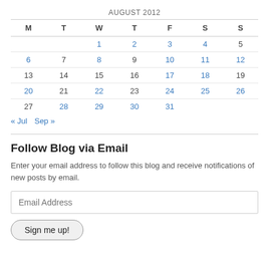AUGUST 2012
| M | T | W | T | F | S | S |
| --- | --- | --- | --- | --- | --- | --- |
|  |  | 1 | 2 | 3 | 4 | 5 |
| 6 | 7 | 8 | 9 | 10 | 11 | 12 |
| 13 | 14 | 15 | 16 | 17 | 18 | 19 |
| 20 | 21 | 22 | 23 | 24 | 25 | 26 |
| 27 | 28 | 29 | 30 | 31 |  |  |
« Jul   Sep »
Follow Blog via Email
Enter your email address to follow this blog and receive notifications of new posts by email.
Email Address
Sign me up!